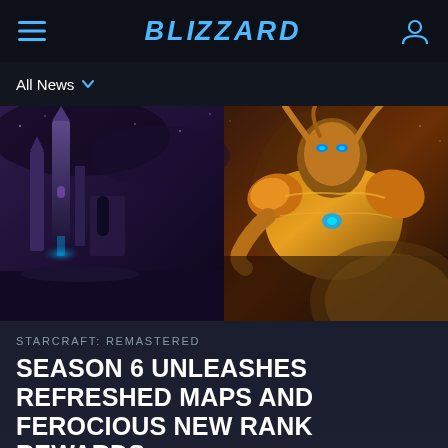Blizzard — navigation bar with hamburger menu, Blizzard logo, and user icon
All News ∨
[Figure (illustration): StarCraft: Remastered hero image showing a dark fantasy sci-fi landscape with purple-tinted ruined towers on the left and a large golden armored Protoss warrior on the right against an orange sky, with a large planet visible in the lower right]
STARCRAFT: REMASTERED
SEASON 6 UNLEASHES REFRESHED MAPS AND FEROCIOUS NEW RANK REWARDS
Blizzard Entertainment  February 13, 2020